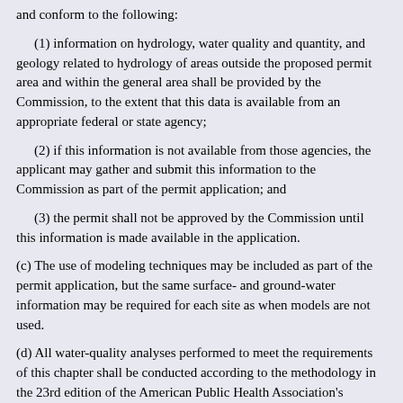and conform to the following:
(1) information on hydrology, water quality and quantity, and geology related to hydrology of areas outside the proposed permit area and within the general area shall be provided by the Commission, to the extent that this data is available from an appropriate federal or state agency;
(2) if this information is not available from those agencies, the applicant may gather and submit this information to the Commission as part of the permit application; and
(3) the permit shall not be approved by the Commission until this information is made available in the application.
(c) The use of modeling techniques may be included as part of the permit application, but the same surface- and ground-water information may be required for each site as when models are not used.
(d) All water-quality analyses performed to meet the requirements of this chapter shall be conducted according to the methodology in the 23rd edition of the American Public Health Association's Standard Methods for the Examination of Water and Wastewater, which is incorporated by reference, or the methodology in 40 CFR Parts 136 and 434.